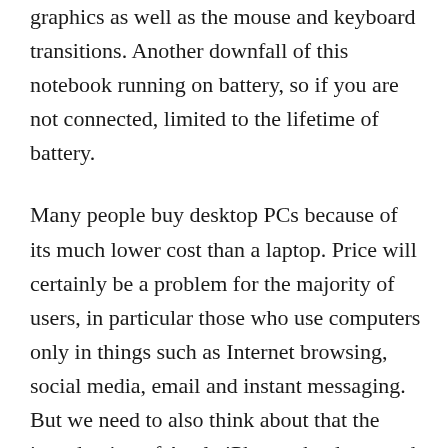graphics as well as the mouse and keyboard transitions. Another downfall of this notebook running on battery, so if you are not connected, limited to the lifetime of battery.
Many people buy desktop PCs because of its much lower cost than a laptop. Price will certainly be a problem for the majority of users, in particular those who use computers only in things such as Internet browsing, social media, email and instant messaging. But we need to also think about that the introduction of Apple iPhone, the decreased cost and performance that users are more casual searching. It offers them access to, social websites on the world wide web, email in addition to countless new programs which may be added.